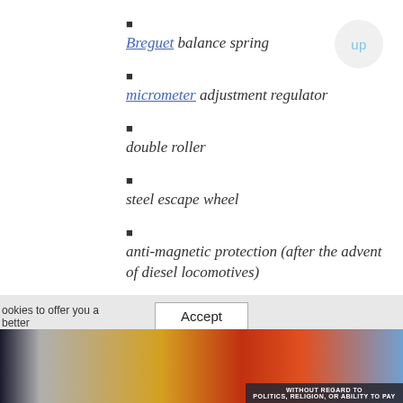Breguet balance spring
micrometer adjustment regulator
double roller
steel escape wheel
anti-magnetic protection (after the advent of diesel locomotives)
jim-proof
[Figure (photo): Advertisement banner at bottom of page showing cargo airplane with Accept cookies button overlay and text 'WITHOUT REGARD TO POLITICS, RELIGION, OR ABILITY TO PAY']